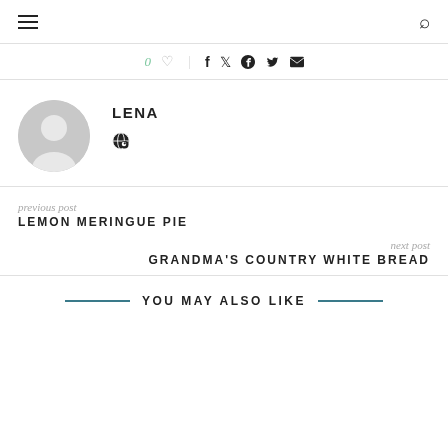≡ [hamburger menu] [search icon]
0 ♡ | f 🐦 𝔭 ✉
[Figure (photo): Default user avatar circle icon in gray]
LENA
🌐 globe icon
previous post
LEMON MERINGUE PIE
next post
GRANDMA'S COUNTRY WHITE BREAD
YOU MAY ALSO LIKE